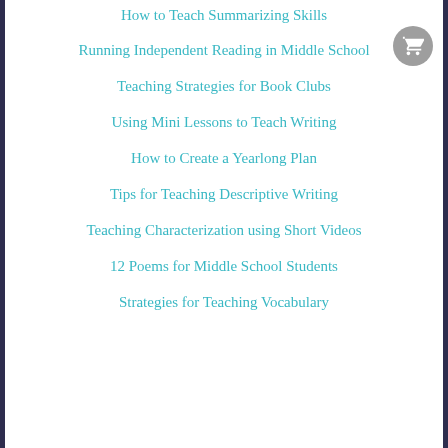How to Teach Summarizing Skills
Running Independent Reading in Middle School
Teaching Strategies for Book Clubs
Using Mini Lessons to Teach Writing
How to Create a Yearlong Plan
Tips for Teaching Descriptive Writing
Teaching Characterization using Short Videos
12 Poems for Middle School Students
Strategies for Teaching Vocabulary